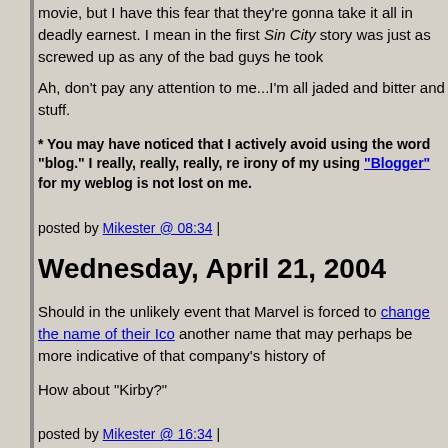movie, but I have this fear that they're gonna take it all in deadly earnest. I mean in the first Sin City story was just as screwed up as any of the bad guys he took
Ah, don't pay any attention to me...I'm all jaded and bitter and stuff.
* You may have noticed that I actively avoid using the word "blog." I really, really, really, re irony of my using "Blogger" for my weblog is not lost on me.
posted by Mikester  @ 08:34 |
Wednesday, April 21, 2004
Should in the unlikely event that Marvel is forced to change the name of their Ico another name that may perhaps be more indicative of that company's history of
How about "Kirby?"
posted by Mikester  @ 16:34 |
On top of everything else...is this the first time we've seen B.D. without a helmet
For some reason, that adds to the emotional impact of the strip for me.
EDIT: Laura notes this as well.